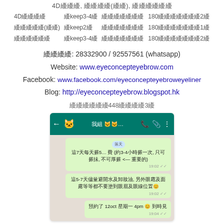4D纋纋纋, 纋纋纋纋(纋纋), 纋纋纋纋纋纋
| 4D纋纋纋纋 | 纋keep3-4纋 | 纋纋纋纋纋纋纋 | 180纋纋纋纋纋纋纋2纋 |
| 纋纋纋纋纋(纋纋) | 纋keep2纋 | 纋纋纋纋纋纋纋 | 180纋纋纋纋纋纋纋1纋 |
| 纋纋纋纋纋纋 | 纋keep3-4纋 | 纋纋纋纋纋纋纋 | 180纋纋纋纋纋纋纋2纋 |
纋纋纋纋: 28332900 / 92557561 (whatsapp)
Website: www.eyeconcepteyebrow.com
Facebook: www.facebook.com/eyeconcepteyebroweyeliner
Blog: http://eyeconcepteyebrow.blogspot.hk
纋纋纋纋纋纋448纋纋纋纋3纋
[Figure (screenshot): WhatsApp chat screenshot showing care instructions after eyebrow tattoo treatment and an appointment confirmation for 12oct Monday 4pm]